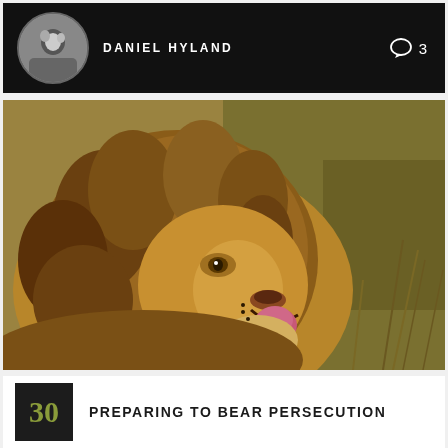DANIEL HYLAND
3
[Figure (photo): Close-up photograph of a male lion with open mouth and tongue out, set against blurred golden savanna grass background]
PREPARING TO BEAR PERSECUTION